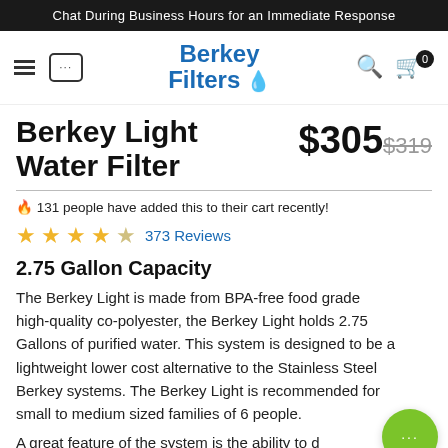Chat During Business Hours for an Immediate Response
[Figure (screenshot): Berkey Filters navigation bar with hamburger menu, chat icon, logo, search icon, and cart with 0 items]
Berkey Light Water Filter
$305 $319
🔥 131 people have added this to their cart recently!
★★★★☆ 373 Reviews
2.75 Gallon Capacity
The Berkey Light is made from BPA-free food grade high-quality co-polyester, the Berkey Light holds 2.75 Gallons of purified water. This system is designed to be a lightweight lower cost alternative to the Stainless Steel Berkey systems. The Berkey Light is recommended for small to medium sized families of up to 6 people.
A great feature of the system is the ability to d...